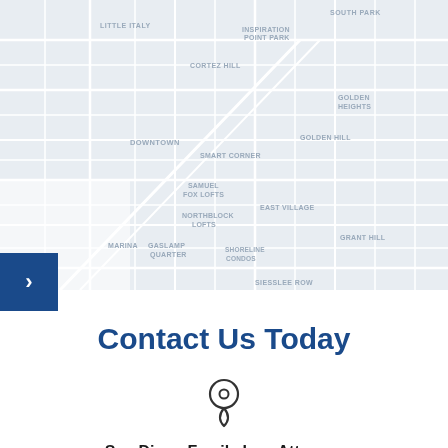[Figure (map): Street map of downtown San Diego area showing neighborhoods including Little Italy, Cortez Hill, Downtown, Samuel Fox Lofts, Northblock Lofts, Gaslamp Quarter, Smart Corner, East Village, Shoreline Condos, Golden Heights, Golden Hill, Grant Hill, South Park, Marina, Inspiration Point, Inspiration Heights areas with street grid.]
Contact Us Today
San Diego Family Law Attorney
16835 W. Bernardo Dr.
Ste. 214
San Diego, CA 92127
619-469-5969